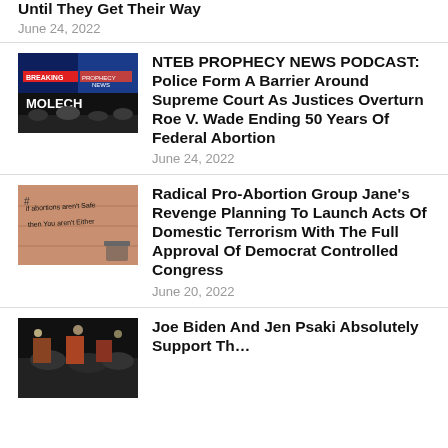Until They Get Their Way
June 24, 2022
NTEB PROPHECY NEWS PODCAST: Police Form A Barrier Around Supreme Court As Justices Overturn Roe V. Wade Ending 50 Years Of Federal Abortion
June 24, 2022
Radical Pro-Abortion Group Jane's Revenge Planning To Launch Acts Of Domestic Terrorism With The Full Approval Of Democrat Controlled Congress
June 20, 2022
Joe Biden And Jen Psaki Absolutely Support Th…